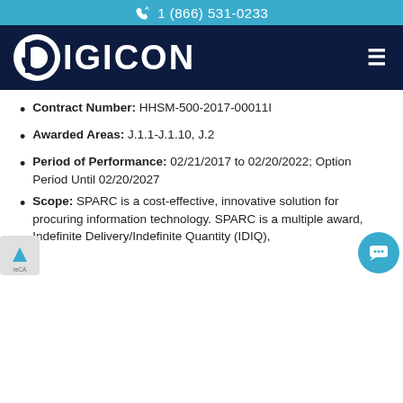1 (866) 531-0233
[Figure (logo): Digicon company logo — white circular D icon and white DIGICON wordmark on dark navy background, with hamburger menu icon on right]
Contract Number: HHSM-500-2017-00011I
Awarded Areas: J.1.1-J.1.10, J.2
Period of Performance: 02/21/2017 to 02/20/2022; Option Period Until 02/20/2027
Scope: SPARC is a cost-effective, innovative solution for procuring information technology. SPARC is a multiple award, Indefinite Delivery/Indefinite Quantity (IDIQ),